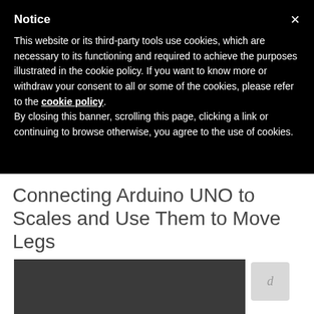Notice
This website or its third-party tools use cookies, which are necessary to its functioning and required to achieve the purposes illustrated in the cookie policy. If you want to know more or withdraw your consent to all or some of the cookies, please refer to the cookie policy.
By closing this banner, scrolling this page, clicking a link or continuing to browse otherwise, you agree to the use of cookies.
Connecting Arduino UNO to Scales and Use Them to Move Legs
Serial Plotter used to show scales data
[Figure (screenshot): Dark gray screenshot area showing an Arduino Serial Plotter interface]